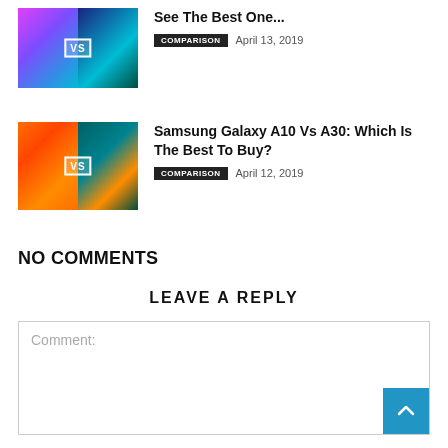[Figure (photo): Thumbnail image showing two smartphones side by side with a VS badge, colorful gradient backgrounds (purple/teal)]
See The Best One...
COMPARISON   April 13, 2019
[Figure (photo): Thumbnail image of Samsung Galaxy A10 vs A30 smartphones side by side with VS badge, orange/teal gradient backgrounds]
Samsung Galaxy A10 Vs A30: Which Is The Best To Buy?
COMPARISON   April 12, 2019
NO COMMENTS
LEAVE A REPLY
Comment: